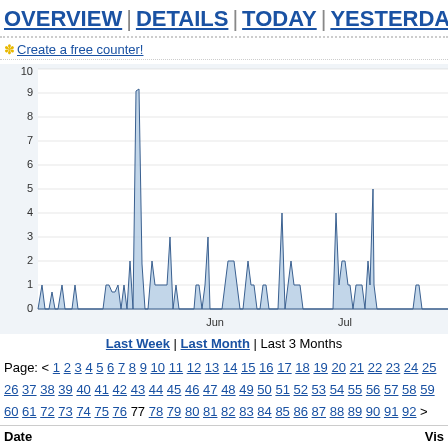OVERVIEW | DETAILS | TODAY | YESTERDAY
✽ Create a free counter!
[Figure (area-chart): Area chart showing daily visits over last 3 months. Peak around 9 near Jun, another peak around 5 near Jul 24.]
Last Week | Last Month | Last 3 Months
Page: < 1 2 3 4 5 6 7 8 9 10 11 12 13 14 15 16 17 18 19 20 21 22 23 24 25 26 37 38 39 40 41 42 43 44 45 46 47 48 49 50 51 52 53 54 55 56 57 58 59 60 61 72 73 74 75 76 77 78 79 80 81 82 83 84 85 86 87 88 89 90 91 92 >
| Date | Vis |
| --- | --- |
| March 21, 2012 | 19 |
| March 20, 2012 | 23 |